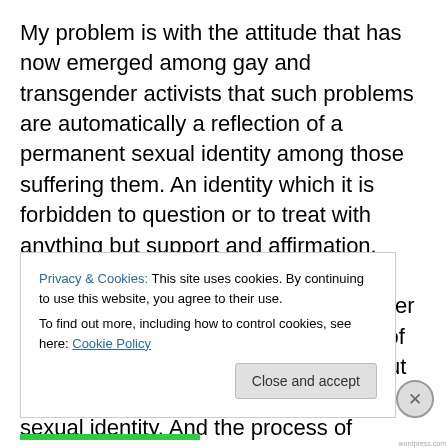My problem is with the attitude that has now emerged among gay and transgender activists that such problems are automatically a reflection of a permanent sexual identity among those suffering them. An identity which it is forbidden to question or to treat with anything but support and affirmation. According to academic research, 60%-85% of teens suffering from gender dysphoria grow out of it. The majority of them becoming gay men or women, but otherwise happy and secure in their sexual identity. And the process of transition itself also carries serious health risks. As has been admitted, puberty
Privacy & Cookies: This site uses cookies. By continuing to use this website, you agree to their use.
To find out more, including how to control cookies, see here: Cookie Policy